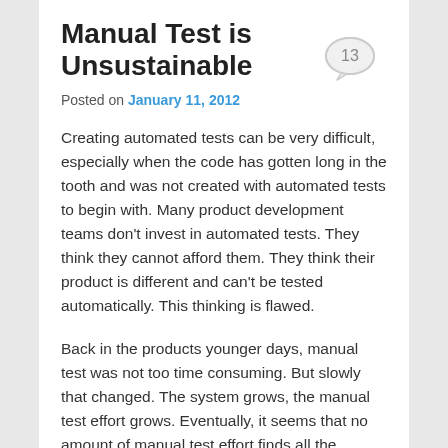Manual Test is Unsustainable
Posted on January 11, 2012
Creating automated tests can be very difficult, especially when the code has gotten long in the tooth and was not created with automated tests to begin with. Many product development teams don't invest in automated tests. They think they cannot afford them. They think their product is different and can't be tested automatically. This thinking is flawed.
Back in the products younger days, manual test was not too time consuming. But slowly that changed. The system grows, the manual test effort grows. Eventually, it seems that no amount of manual test effort finds all the problems.
In this article I show a simple model that illustrates why manual test is unsustainable and that a sustainable